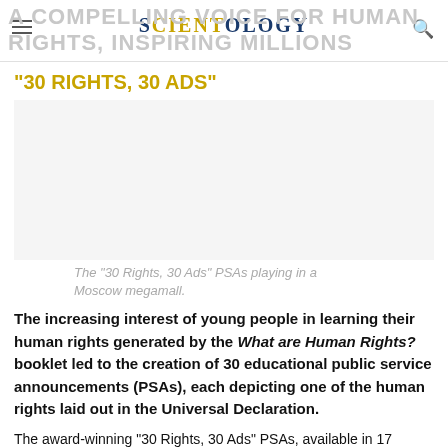SCIENTOLOGY
A COMPELLING VOICE FOR HUMAN RIGHTS, INSPIRING MILLIONS
"30 RIGHTS, 30 ADS"
[Figure (photo): The '30 Rights, 30 Ads' PSAs playing in a Moscow megamall.]
The “30 Rights, 30 Ads” PSAs playing in a Moscow megamall.
The increasing interest of young people in learning their human rights generated by the What are Human Rights? booklet led to the creation of 30 educational public service announcements (PSAs), each depicting one of the human rights laid out in the Universal Declaration.
The award-winning “30 Rights, 30 Ads” PSAs, available in 17 languages, have aired in more than 100 countries on